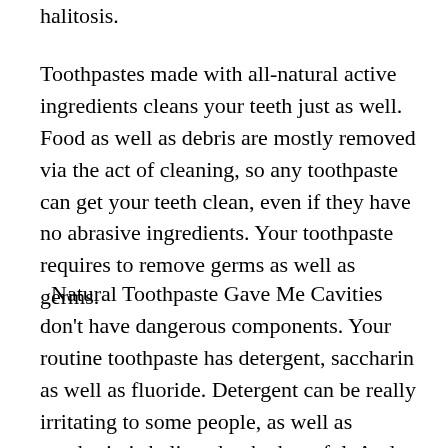halitosis.
Toothpastes made with all-natural active ingredients cleans your teeth just as well. Food as well as debris are mostly removed via the act of cleaning, so any toothpaste can get your teeth clean, even if they have no abrasive ingredients. Your toothpaste requires to remove germs as well as germs.
Natural Toothpaste Gave Me Cavities don't have dangerous components. Your routine toothpaste has detergent, saccharin as well as fluoride. Detergent can be really irritating to some people, as well as saccharin is believed to be harmful. And, though you might think you need fluoride, the reality is that dental health…